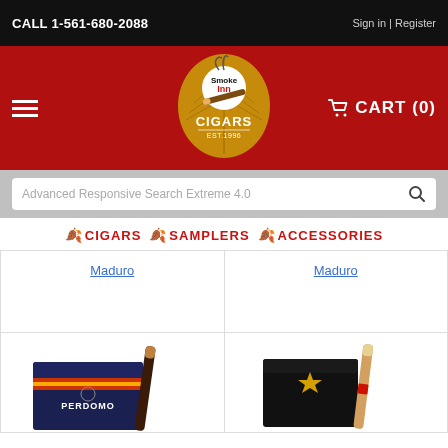CALL 1-561-680-2088 | Sign in | Register
[Figure (logo): Smoke Inn Cigars logo — stylized leaf background with cigar and swirling smoke, text 'Smoke Inn CIGARS EST.1996']
CART (0)
Advanced Responsive Search Extreme 4.0
🍂 CIGARS 🍂 SAMPLERS 🍂 ACCESSORIES
Maduro
Maduro
[Figure (photo): Dark navy cigar box labeled 'PERDOMO' with a single dark maduro cigar leaning against it]
[Figure (photo): Black cigar box with gold star emblem, with a light natural wrapper cigar leaning against it]